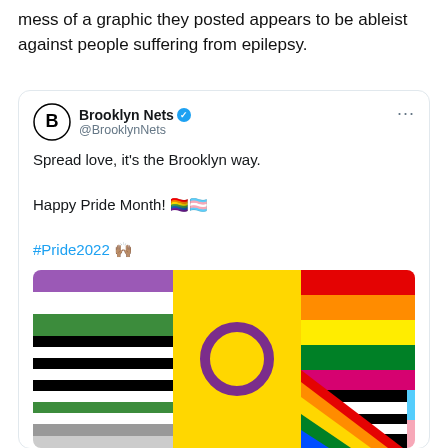mess of a graphic they posted appears to be ableist against people suffering from epilepsy.
[Figure (screenshot): Embedded tweet from Brooklyn Nets (@BrooklynNets) with verified badge. Tweet text: 'Spread love, it's the Brooklyn way. Happy Pride Month! 🏳️‍🌈🏳️‍⚧️ #Pride2022 🙌'. Below the tweet text is a colorful Pride graphic showing multiple Pride flags arranged in a mosaic including rainbow, trans, intersex, and other pride flags.]